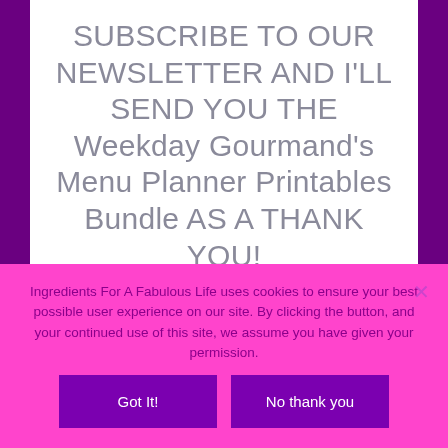SUBSCRIBE TO OUR NEWSLETTER AND I'LL SEND YOU THE Weekday Gourmand's Menu Planner Printables Bundle AS A THANK YOU!
[Figure (other): Partial preview of a printable menu planner bundle document with decorative border]
Ingredients For A Fabulous Life uses cookies to ensure your best possible user experience on our site. By clicking the button, and your continued use of this site, we assume you have given your permission.